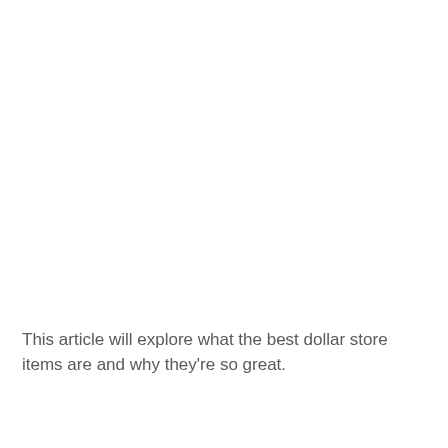This article will explore what the best dollar store items are and why they're so great.